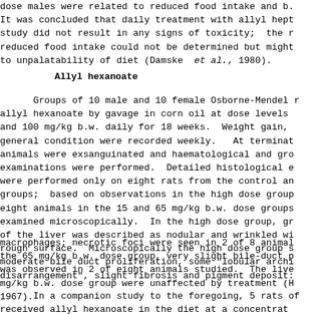dose males were related to reduced food intake and b. It was concluded that daily treatment with allyl hep study did not result in any signs of toxicity;  the r reduced food intake could not be determined but might to unpalatability of diet (Damske  et al., 1980).
Allyl hexanoate
Groups of 10 male and 10 female Osborne-Mendel r allyl hexanoate by gavage in corn oil at dose levels and 100 mg/kg b.w. daily for 18 weeks.  Weight gain, general condition were recorded weekly.   At terminat animals were exsanguinated and haematological and gr examinations were performed.  Detailed histological e were performed only on eight rats from the control ar groups;  based on observations in the high dose grou eight animals in the 15 and 65 mg/kg b.w. dose groups examined microscopically.  In the high dose group, gr of the liver was described as nodular and wrinkled wi rough surface.  Microscopically the high dose group s moderate bile duct proliferation, some "lobular archi disarrangement", slight fibrosis and pigment deposit:
macrophages; necrotic foci were seen in 2 of 8 animal the 65 mg/kg b.w. dose group, very slight bile-duct p was observed in 2 of eight animals studied.  The live mg/kg b.w. dose group were unaffected by treatment (H 1967).
In a companion study to the foregoing, 5 rats of received allyl hexanoate in the diet at a concentrat